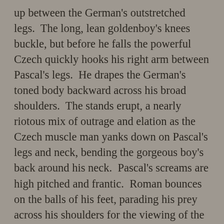up between the German's outstretched legs.  The long, lean goldenboy's knees buckle, but before he falls the powerful Czech quickly hooks his right arm between Pascal's legs.  He drapes the German's toned body backward across his broad shoulders.  The stands erupt, a nearly riotous mix of outrage and elation as the Czech muscle man yanks down on Pascal's legs and neck, bending the gorgeous boy's back around his neck.  Pascal's screams are high pitched and frantic.  Roman bounces on the balls of his feet, parading his prey across his shoulders for the viewing of the raging crowd shocked by the speed with which a world class competitor, a semi-finalist in the Olympics, is completely incapacitated and utterly humiliated.  Roman shows off in the center of the ring, doing leg squats with his 207 pound German barbell racked like dead weight across his shoulders.  The Czech adjusts his grip